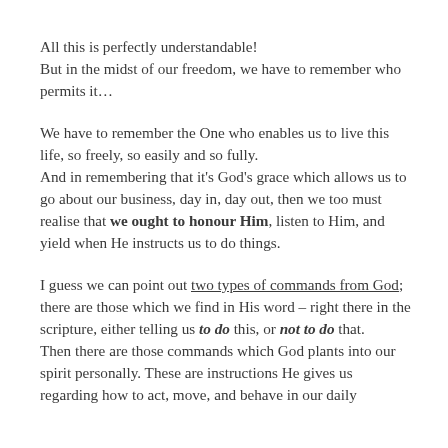All this is perfectly understandable! But in the midst of our freedom, we have to remember who permits it…
We have to remember the One who enables us to live this life, so freely, so easily and so fully. And in remembering that it's God's grace which allows us to go about our business, day in, day out, then we too must realise that we ought to honour Him, listen to Him, and yield when He instructs us to do things.
I guess we can point out two types of commands from God; there are those which we find in His word – right there in the scripture, either telling us to do this, or not to do that. Then there are those commands which God plants into our spirit personally. These are instructions He gives us regarding how to act, move, and behave in our daily